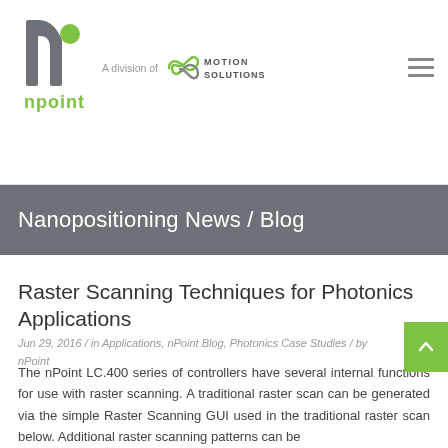nPoint — A division of Motion Solutions
Nanopositioning News / Blog
Raster Scanning Techniques for Photonics Applications
Jun 29, 2016 / in Applications, nPoint Blog, Photonics Case Studies / by nPoint
The nPoint LC.400 series of controllers have several internal functions for use with raster scanning. A traditional raster scan can be generated via the simple Raster Scanning GUI used in the traditional raster scan below. Additional raster scanning patterns can be